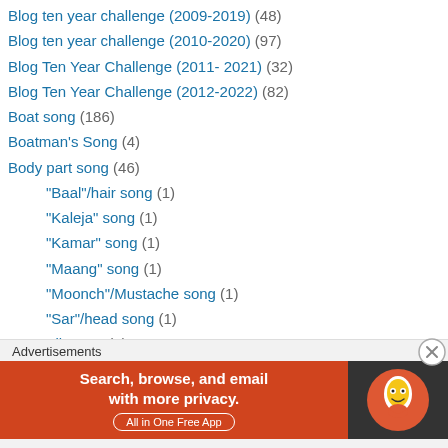Blog ten year challenge (2009-2019) (48)
Blog ten year challenge (2010-2020) (97)
Blog Ten Year Challenge (2011- 2021) (32)
Blog Ten Year Challenge (2012-2022) (82)
Boat song (186)
Boatman's Song (4)
Body part song (46)
"Baal"/hair song (1)
"Kaleja" song (1)
"Kamar" song (1)
"Maang" song (1)
"Moonch"/Mustache song (1)
"Sar"/head song (1)
"til" song (2)
"ungli" / finger song (2)
Baanh/ Bainyya song (2)
Advertisements
[Figure (other): DuckDuckGo advertisement banner: Search, browse, and email with more privacy. All in One Free App.]